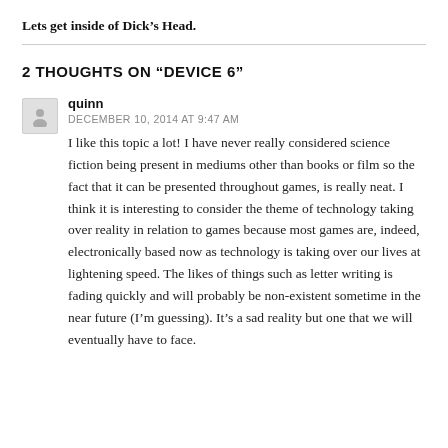Lets get inside of Dick's Head.
2 THOUGHTS ON “DEVICE 6”
quinn
DECEMBER 10, 2014 AT 9:47 AM
I like this topic a lot! I have never really considered science fiction being present in mediums other than books or film so the fact that it can be presented throughout games, is really neat. I think it is interesting to consider the theme of technology taking over reality in relation to games because most games are, indeed, electronically based now as technology is taking over our lives at lightening speed. The likes of things such as letter writing is fading quickly and will probably be non-existent sometime in the near future (I'm guessing). It's a sad reality but one that we will eventually have to face.